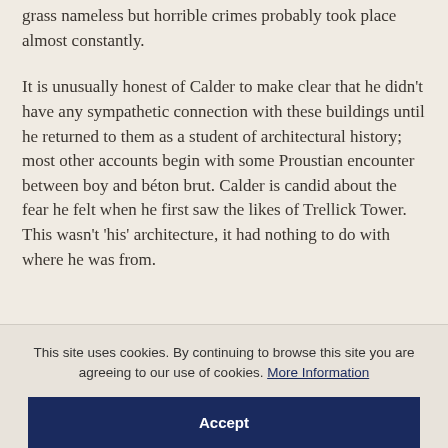grass nameless but horrible crimes probably took place almost constantly.
It is unusually honest of Calder to make clear that he didn't have any sympathetic connection with these buildings until he returned to them as a student of architectural history; most other accounts begin with some Proustian encounter between boy and béton brut. Calder is candid about the fear he felt when he first saw the likes of Trellick Tower. This wasn't 'his' architecture, it had nothing to do with where he was from.
This site uses cookies. By continuing to browse this site you are agreeing to our use of cookies. More Information
Accept